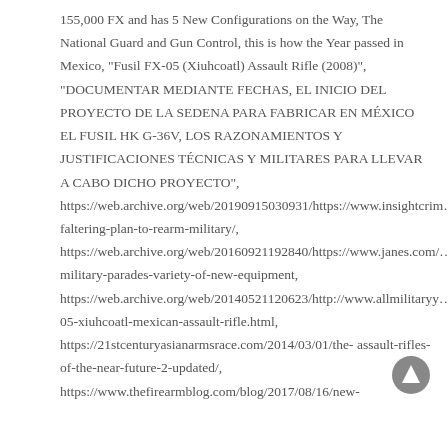155,000 FX and has 5 New Configurations on the Way, The National Guard and Gun Control, this is how the Year passed in Mexico, "Fusil FX-05 (Xiuhcoatl) Assault Rifle (2008)", "DOCUMENTAR MEDIANTE FECHAS, EL INICIO DEL PROYECTO DE LA SEDENA PARA FABRICAR EN MÉXICO EL FUSIL HK G-36V, LOS RAZONAMIENTOS Y JUSTIFICACIONES TÉCNICAS Y MILITARES PARA LLEVAR A CABO DICHO PROYECTO", https://web.archive.org/web/20190915030931/https://www.insightcrim…faltering-plan-to-rearm-military/, https://web.archive.org/web/20160921192840/https://www.janes.com/…military-parades-variety-of-new-equipment, https://web.archive.org/web/20140521120623/http://www.allmilitaryy…05-xiuhcoatl-mexican-assault-rifle.html, https://21stcenturyasianarmsrace.com/2014/03/01/the-assault-rifles-of-the-near-future-2-updated/, https://www.thefirearmblog.com/blog/2017/08/16/new-...